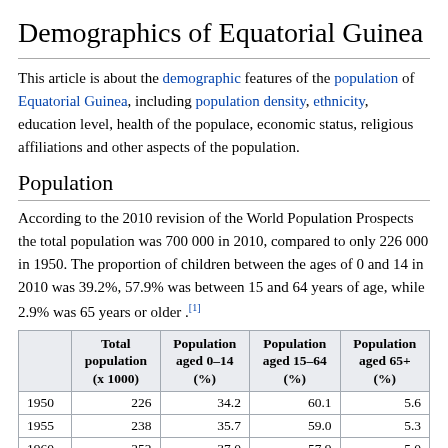Demographics of Equatorial Guinea
This article is about the demographic features of the population of Equatorial Guinea, including population density, ethnicity, education level, health of the populace, economic status, religious affiliations and other aspects of the population.
Population
According to the 2010 revision of the World Population Prospects the total population was 700 000 in 2010, compared to only 226 000 in 1950. The proportion of children between the ages of 0 and 14 in 2010 was 39.2%, 57.9% was between 15 and 64 years of age, while 2.9% was 65 years or older .[1]
|  | Total population (x 1000) | Population aged 0–14 (%) | Population aged 15–64 (%) | Population aged 65+ (%) |
| --- | --- | --- | --- | --- |
| 1950 | 226 | 34.2 | 60.1 | 5.6 |
| 1955 | 238 | 35.7 | 59.0 | 5.3 |
| 1960 | 252 | 37.0 | 57.9 | 5.0 |